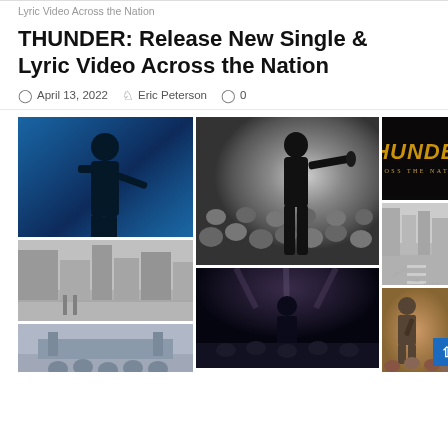Lyric Video Across the Nation
THUNDER: Release New Single & Lyric Video Across the Nation
April 13, 2022  Eric Peterson  0
[Figure (photo): Collage of concert and promotional photos for Thunder's single 'Across the Nation', including live performance shots, a crowd photo, a street scene in black and white, and the single's album cover showing the word THUNDER in gold italic letters on a black background with 'ACROSS THE NATION' below it.]